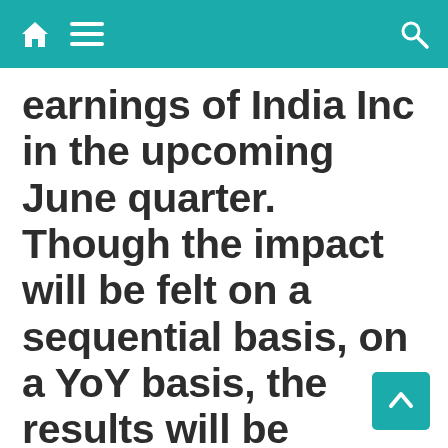[Navigation bar with home, menu, and search icons]
earnings of India Inc in the upcoming June quarter. Though the impact will be felt on a sequential basis, on a YoY basis, the results will be strong, they say.
[Figure (other): Grey advertisement or content placeholder area at the bottom of the page, with a teal scroll-to-top button in the lower right corner.]